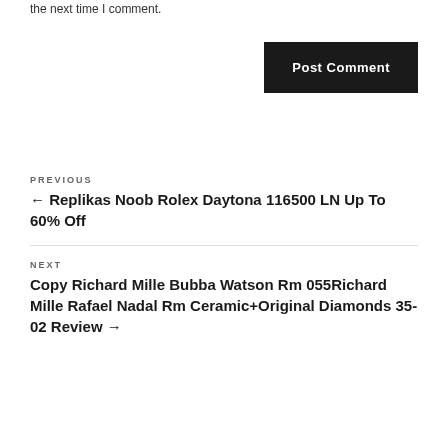the next time I comment.
Post Comment
PREVIOUS
← Replikas Noob Rolex Daytona 116500 LN Up To 60% Off
NEXT
Copy Richard Mille Bubba Watson Rm 055Richard Mille Rafael Nadal Rm Ceramic+Original Diamonds 35-02 Review →